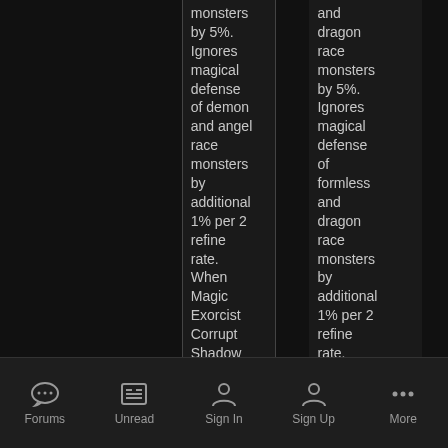|  | Column 2 |  | Column 4 |  |
| --- | --- | --- | --- | --- |
|  | monsters by 5%. Ignores magical defense of demon and angel race monsters by additional 1% per 2 refine rate. When Magic Exorcist Corrupt Shadow |  | and dragon race monsters by 5%. Ignores magical defense of formless and dragon race monsters by additional 1% per 2 refine rate. |  |
Forums  Unread  Sign In  Sign Up  More